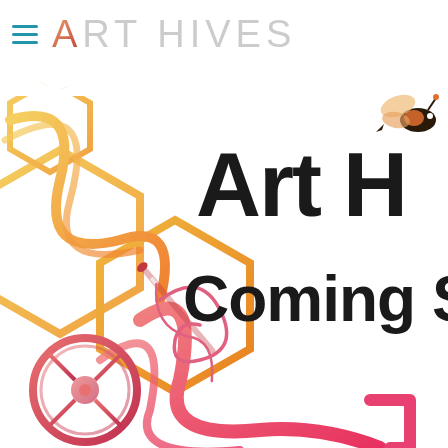ART HIVES
[Figure (illustration): Art Hives website screenshot showing a decorative illustration with hexagonal honeycomb shapes in yellow/orange gradient, a needle and thread in pink/red, a lemon/citrus wheel in pink/red at bottom left, ribbon-like decorative swirls in yellow and pink, a bee icon in the top right corner, a torn paper edge effect across the middle, and large bold black text reading 'Art H...' and 'Coming S...' (text partially cropped at right edge)]